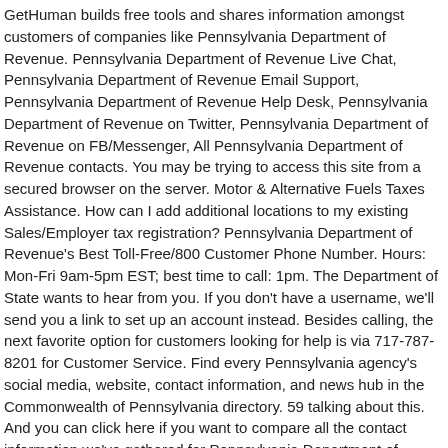GetHuman builds free tools and shares information amongst customers of companies like Pennsylvania Department of Revenue. Pennsylvania Department of Revenue Live Chat, Pennsylvania Department of Revenue Email Support, Pennsylvania Department of Revenue Help Desk, Pennsylvania Department of Revenue on Twitter, Pennsylvania Department of Revenue on FB/Messenger, All Pennsylvania Department of Revenue contacts. You may be trying to access this site from a secured browser on the server. Motor & Alternative Fuels Taxes Assistance. How can I add additional locations to my existing Sales/Employer tax registration? Pennsylvania Department of Revenue's Best Toll-Free/800 Customer Phone Number. Hours: Mon-Fri 9am-5pm EST; best time to call: 1pm. The Department of State wants to hear from you. If you don't have a username, we'll send you a link to set up an account instead. Besides calling, the next favorite option for customers looking for help is via 717-787-8201 for Customer Service. Find every Pennsylvania agency's social media, website, contact information, and news hub in the Commonwealth of Pennsylvania directory. 59 talking about this. And you can click here if you want to compare all the contact information we've gathered for Pennsylvania Department of Revenue. It's not always clear what is the best way to talk to Pennsylvania Department of Revenue representatives, so we started compiling this information built from suggestions from the customer community. While 717-787-1064 is Pennsylvania Department of Revenue's best toll-free number, there are 3 total ways to get in touch with